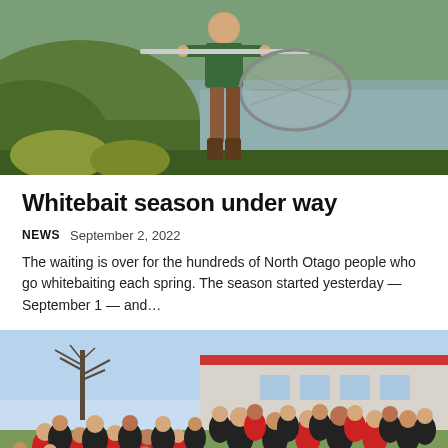[Figure (photo): Person in green t-shirt holding a large fishing/whitebait net, standing by a river or lake with green hills in background]
Whitebait season under way
NEWS   September 2, 2022
The waiting is over for the hundreds of North Otago people who go whitebaiting each spring. The season started yesterday — September 1 — and...
[Figure (photo): Large group of school children and adults posing outdoors in front of a school building, wearing red and black uniforms, with a bare tree and blue sky in background]